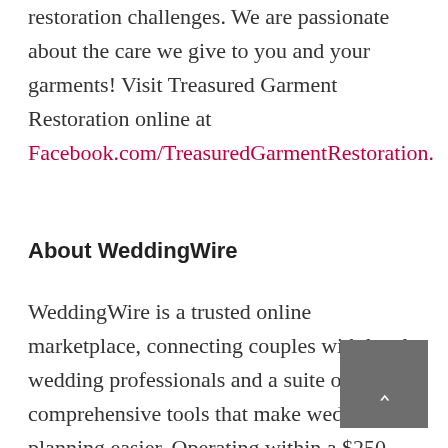restoration challenges. We are passionate about the care we give to you and your garments! Visit Treasured Garment Restoration online at Facebook.com/TreasuredGarmentRestoration.
About WeddingWire
WeddingWire is a trusted online marketplace, connecting couples with local wedding professionals and a suite of comprehensive tools that make wedding planning easier. Operating within a $250 billion global industry, WeddingWire helps millions of couples prepare for the...